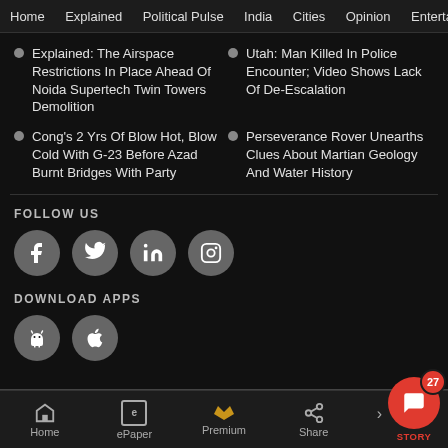Home   Explained   Political Pulse   India   Cities   Opinion   Entertainment
Explained: The Airspace Restrictions In Place Ahead Of Noida Supertech Twin Towers Demolition
Utah: Man Killed In Police Encounter; Video Shows Lack Of De-Escalation
Cong's 2 Yrs Of Blow Hot, Blow Cold With G-23 Before Azad Burnt Bridges With Party
Perseverance Rover Unearths Clues About Martian Geology And Water History
FOLLOW US
[Figure (illustration): Social media icons: Facebook, Twitter, LinkedIn, Instagram]
DOWNLOAD APPS
[Figure (illustration): App store icons: Android, iOS]
Home   ePaper   Premium   Share   STORY